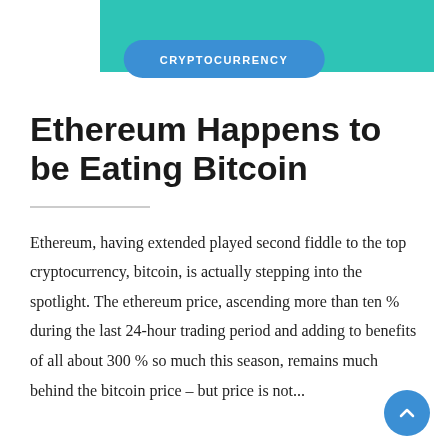[Figure (other): Teal/cyan banner image at top of page with white strips on the left and right edges]
CRYPTOCURRENCY
Ethereum Happens to be Eating Bitcoin
Ethereum, having extended played second fiddle to the top cryptocurrency, bitcoin, is actually stepping into the spotlight. The ethereum price, ascending more than ten % during the last 24-hour trading period and adding to benefits of all about 300 % so much this season, remains much behind the bitcoin price – but price is not...